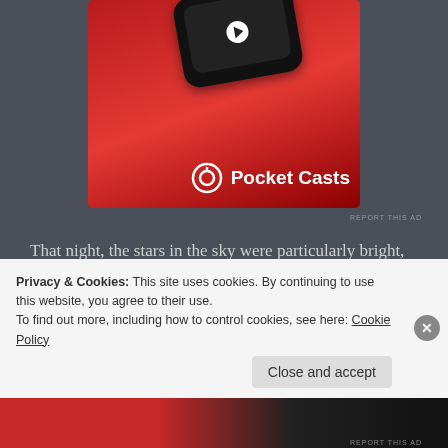[Figure (photo): Pocket Casts app advertisement showing a red smartphone/device with app interface and Pocket Casts logo and branding on a red background]
REPORT THIS AD
That night, the stars in the sky were particularly bright, and Chen Ji Mountain welcomed many guests. The spell in front of the mountain gate restarted; it was a blended scene of icy snow with blazing fire that Mo Qing witnessed every day.
In Wu E Palace, people were busy eating and drinking with
Privacy & Cookies: This site uses cookies. By continuing to use this website, you agree to their use.
To find out more, including how to control cookies, see here: Cookie Policy
Close and accept